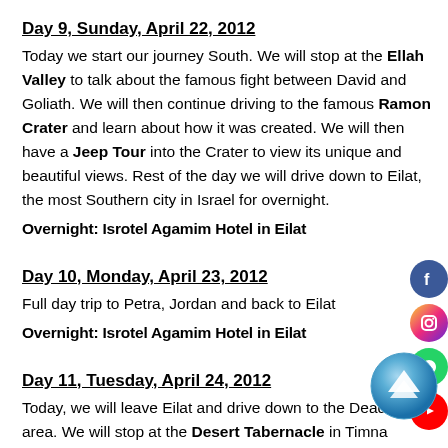Day 9, Sunday, April 22, 2012
Today we start our journey South. We will stop at the Ellah Valley to talk about the famous fight between David and Goliath. We will then continue driving to the famous Ramon Crater and learn about how it was created. We will then have a Jeep Tour into the Crater to view its unique and beautiful views. Rest of the day we will drive down to Eilat, the most Southern city in Israel for overnight.
Overnight: Isrotel Agamim Hotel in Eilat
Day 10, Monday, April 23, 2012
Full day trip to Petra, Jordan and back to Eilat
Overnight: Isrotel Agamim Hotel in Eilat
Day 11, Tuesday, April 24, 2012
Today, we will leave Eilat and drive down to the Dead Sea area. We will stop at the Desert Tabernacle in Timna